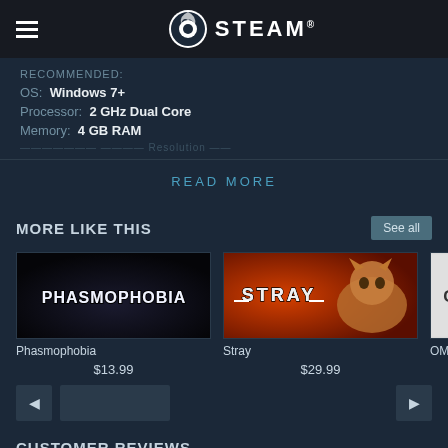STEAM
RECOMMENDED:
OS: Windows 7+
Processor: 2 GHz Dual Core
Memory: 4 GB RAM
READ MORE
MORE LIKE THIS
See all
[Figure (screenshot): Phasmophobia game thumbnail - dark image with Phasmophobia logo text]
Phasmophobia
$13.99
[Figure (screenshot): Stray game thumbnail - orange/red background with cat and Stray logo]
Stray
$29.99
[Figure (screenshot): Partial game thumbnail partially visible on right edge]
OMC
CUSTOMER REVIEWS